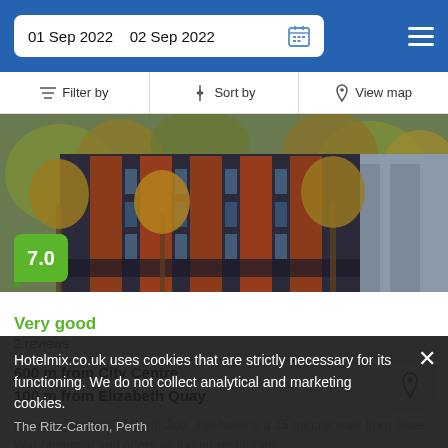01 Sep 2022  02 Sep 2022
Filter by  Sort by  View map
[Figure (photo): Exterior photo of a multi-storey hotel building with red brick columns and autumn trees in the foreground. Score badge showing 7.0 in green.]
Very good
2 reviews
600 m from City Centre
100 m from Elizabeth Quay
Providing access to Perth Zoo, this hotel is a 15-minute walk from State War Memorial and offers an indoor restaurant.
from £157/night  SELECT
Hotelmix.co.uk uses cookies that are strictly necessary for its functioning. We do not collect analytical and marketing cookies.
The Ritz-Carlton, Perth